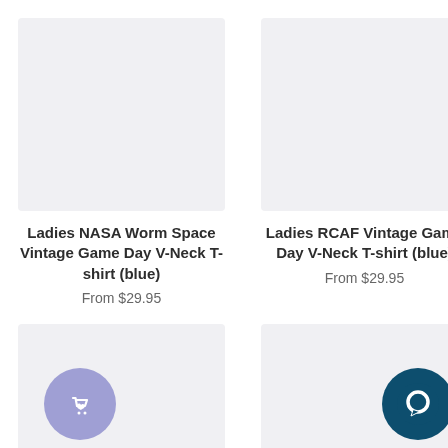[Figure (photo): Product image placeholder - light grey square for Ladies NASA Worm Space Vintage Game Day V-Neck T-shirt (blue)]
Ladies NASA Worm Space Vintage Game Day V-Neck T-shirt (blue)
From $29.95
[Figure (photo): Product image placeholder - light grey square for Ladies RCAF Vintage Game Day V-Neck T-shirt (blue)]
Ladies RCAF Vintage Game Day V-Neck T-shirt (blue)
From $29.95
[Figure (illustration): Product card bottom left with purple circle icon showing shopping bag with heart]
[Figure (illustration): Product card bottom right with dark teal circle icon showing chat/message bubble]